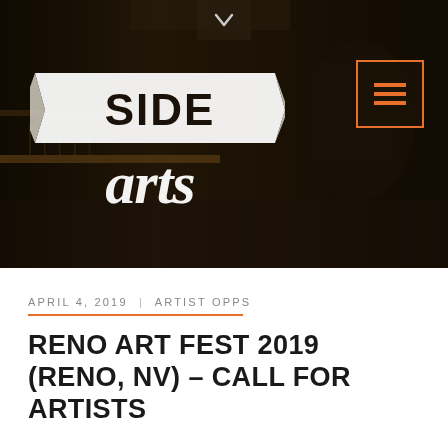[Figure (screenshot): Side Arts website header/hero image showing a darkened workshop/studio background with the 'Side Arts' logo (SIDE in bold distressed font on a banner, arts in cursive script below) on the left, a hamburger menu icon in an orange border on the top right, and a chevron/down arrow at the top center.]
APRIL 4, 2019 | ARTIST OPPS
RENO ART FEST 2019 (RENO, NV) – CALL FOR ARTISTS